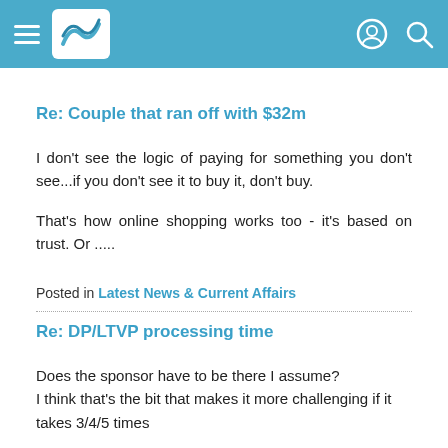Navigation header with hamburger menu, logo, profile icon, and search icon
Re: Couple that ran off with $32m
I don't see the logic of paying for something you don't see...if you don't see it to buy it, don't buy.

That's how online shopping works too - it's based on trust. Or .....
Posted in Latest News & Current Affairs
Re: DP/LTVP processing time
Does the sponsor have to be there I assume?
I think that's the bit that makes it more challenging if it takes 3/4/5 times